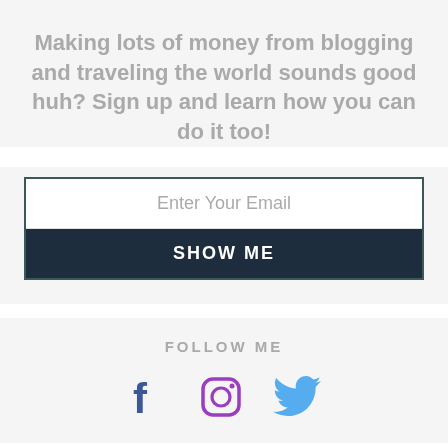Making lots of money from blogging and traveling the world sounds good huh? Sign up and learn how you can do it too!
[Figure (screenshot): Email signup form with input field 'Enter Your Email' and dark navy button labeled 'SHOW ME']
FOLLOW ME
[Figure (infographic): Social media icons: Facebook (dark blue f), Instagram (purple camera), Twitter (blue bird)]